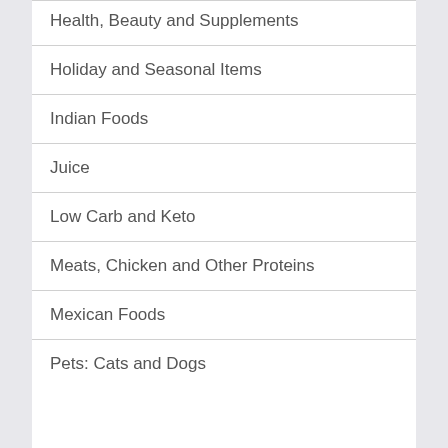Health, Beauty and Supplements
Holiday and Seasonal Items
Indian Foods
Juice
Low Carb and Keto
Meats, Chicken and Other Proteins
Mexican Foods
Pets: Cats and Dogs